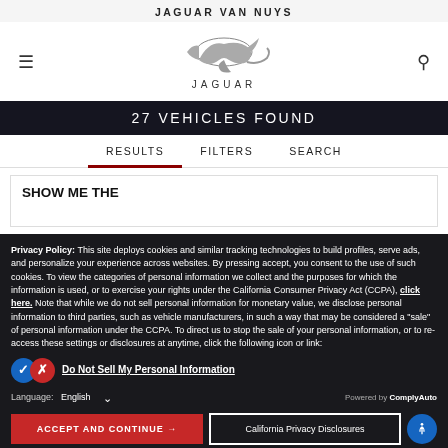JAGUAR VAN NUYS
[Figure (logo): Jaguar leaping cat logo with JAGUAR text, hamburger menu icon left, search icon right]
27 VEHICLES FOUND
RESULTS   FILTERS   SEARCH
SHOW ME THE
Privacy Policy: This site deploys cookies and similar tracking technologies to build profiles, serve ads, and personalize your experience across websites. By pressing accept, you consent to the use of such cookies. To view the categories of personal information we collect and the purposes for which the information is used, or to exercise your rights under the California Consumer Privacy Act (CCPA), click here. Note that while we do not sell personal information for monetary value, we disclose personal information to third parties, such as vehicle manufacturers, in such a way that may be considered a "sale" of personal information under the CCPA. To direct us to stop the sale of your personal information, or to re-access these settings or disclosures at anytime, click the following icon or link:
Do Not Sell My Personal Information
Language: English  Powered by ComplyAuto
ACCEPT AND CONTINUE →   California Privacy Disclosures